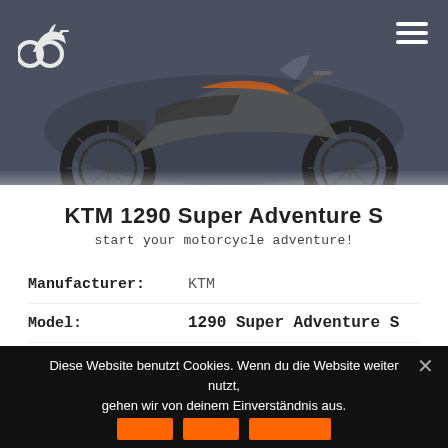[Figure (photo): Dark blue-grey header with a motorcycle (KTM adventure bike) photo, a white motorcycle logo/icon in the top left, and a hamburger menu icon in the top right.]
KTM 1290 Super Adventure S
start your motorcycle adventure!
| Label | Value |
| --- | --- |
| Manufacturer: | KTM |
| Model: | 1290 Super Adventure S |
| Category: | Travel |
| PS/KW: | 160/118 |
| ccm: | 1301 ccm |
Diese Website benutzt Cookies. Wenn du die Website weiter nutzt, gehen wir von deinem Einverständnis aus.